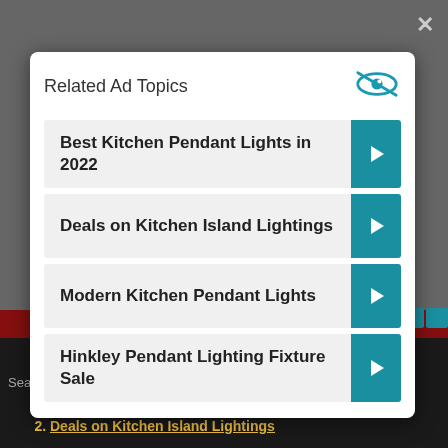Related Ad Topics
Best Kitchen Pendant Lights in 2022
Deals on Kitchen Island Lightings
Modern Kitchen Pendant Lights
Hinkley Pendant Lighting Fixture Sale
Search for
1. Best Kitchen Pendant Lights in 2022
2. Deals on Kitchen Island Lightings